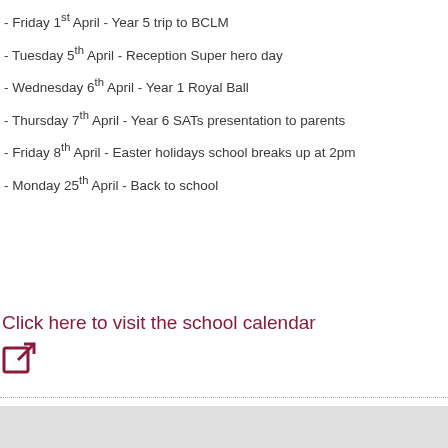- Friday 1st April - Year 5 trip to BCLM
- Tuesday 5th April - Reception Super hero day
- Wednesday 6th April - Year 1 Royal Ball
- Thursday 7th April - Year 6 SATs presentation to parents
- Friday 8th April - Easter holidays school breaks up at 2pm
- Monday 25th April - Back to school
Click here to visit the school calendar